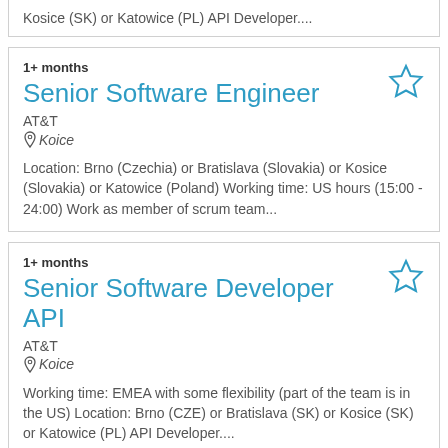Kosice (SK) or Katowice (PL) API Developer....
1+ months
Senior Software Engineer
AT&T
Koice
Location: Brno (Czechia) or Bratislava (Slovakia) or Kosice (Slovakia) or Katowice (Poland) Working time: US hours (15:00 - 24:00) Work as member of scrum team...
1+ months
Senior Software Developer API
AT&T
Koice
Working time: EMEA with some flexibility (part of the team is in the US) Location: Brno (CZE) or Bratislava (SK) or Kosice (SK) or Katowice (PL) API Developer....